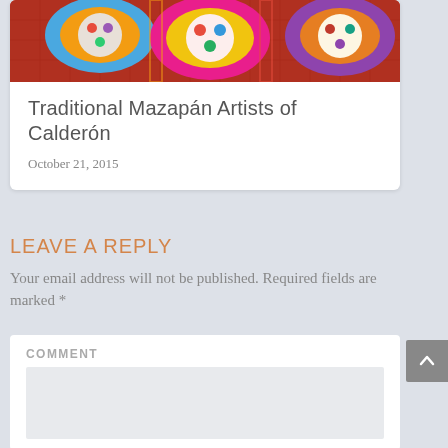[Figure (photo): Colorful decorative crafts (Mazapán figures) displayed against a red tiled background]
Traditional Mazapán Artists of Calderón
October 21, 2015
Leave a reply
Your email address will not be published. Required fields are marked *
COMMENT